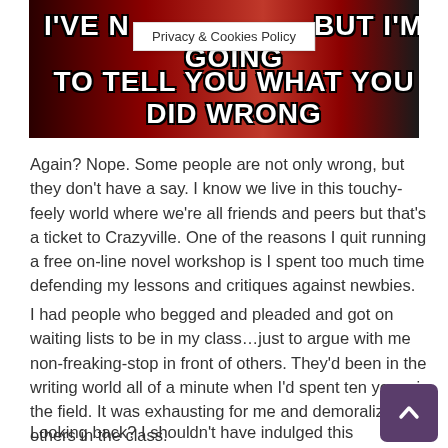[Figure (photo): Meme image with dark background showing a person with text overlay: I'VE N[OT AGREED WITH EVERYTHING SAID HERE,] BUT I'M GOING TO TELL YOU WHAT YOU DID WRONG. A 'Privacy & Cookies Policy' browser bar overlays the top portion.]
Again? Nope. Some people are not only wrong, but they don't have a say. I know we live in this touchy-feely world where we're all friends and peers but that's a ticket to Crazyville. One of the reasons I quit running a free on-line novel workshop is I spent too much time defending my lessons and critiques against newbies.
I had people who begged and pleaded and got on waiting lists to be in my class…just to argue with me non-freaking-stop in front of others. They'd been in the writing world all of a minute when I'd spent ten years in the field. It was exhausting for me and demoralizing for others in the class.
Looking back? I shouldn't have indulged this behavior